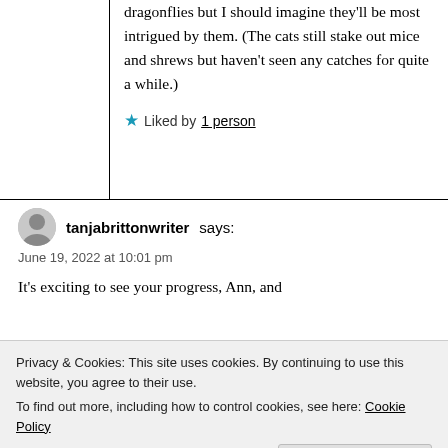dragonflies but I should imagine they'll be most intrigued by them. (The cats still stake out mice and shrews but haven't seen any catches for quite a while.)
Liked by 1 person
tanjabrittonwriter says:
June 19, 2022 at 10:01 pm
It's exciting to see your progress, Ann, and
Privacy & Cookies: This site uses cookies. By continuing to use this website, you agree to their use. To find out more, including how to control cookies, see here: Cookie Policy
Close and accept
Liked by 1 person